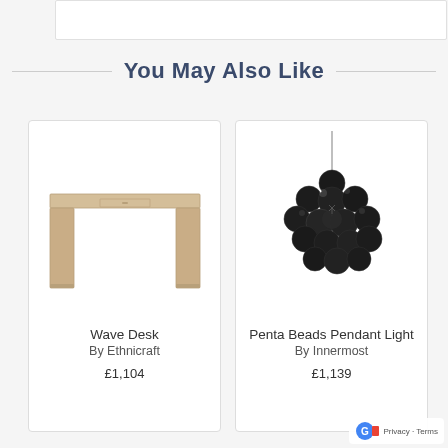You May Also Like
[Figure (photo): Wave Desk - a light wood minimalist desk with simple rectangular form and two legs]
Wave Desk
By Ethnicraft
£1,104
[Figure (photo): Penta Beads Pendant Light - a cluster of dark/black metallic spheres forming a globe shape, hanging by a thin cord]
Penta Beads Pendant Light
By Innermost
£1,139